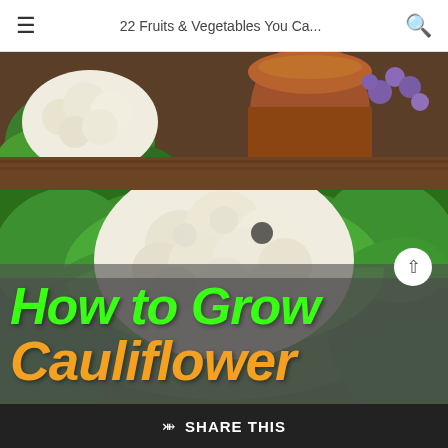22 Fruits & Vegetables You Ca...
[Figure (photo): Top portion showing a cauliflower head with green leaves on a wooden surface, a clay pot and purple flowers in background]
[Figure (photo): Close-up of a large cauliflower head with green leaves, with semi-transparent gray overlay and text 'How to Grow Cauliflower' in bright green and orange]
SHARE THIS